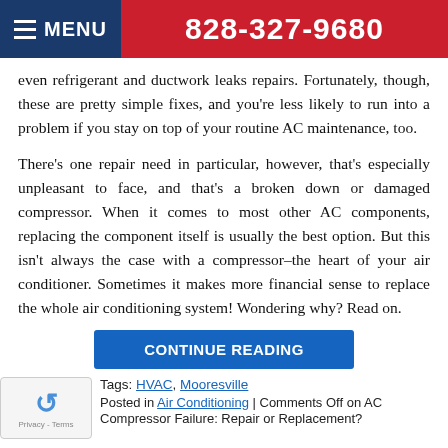MENU | 828-327-9680
even refrigerant and ductwork leaks repairs. Fortunately, though, these are pretty simple fixes, and you're less likely to run into a problem if you stay on top of your routine AC maintenance, too.
There's one repair need in particular, however, that's especially unpleasant to face, and that's a broken down or damaged compressor. When it comes to most other AC components, replacing the component itself is usually the best option. But this isn't always the case with a compressor–the heart of your air conditioner. Sometimes it makes more financial sense to replace the whole air conditioning system! Wondering why? Read on.
CONTINUE READING
Tags: HVAC, Mooresville
Posted in Air Conditioning | Comments Off on AC Compressor Failure: Repair or Replacement?